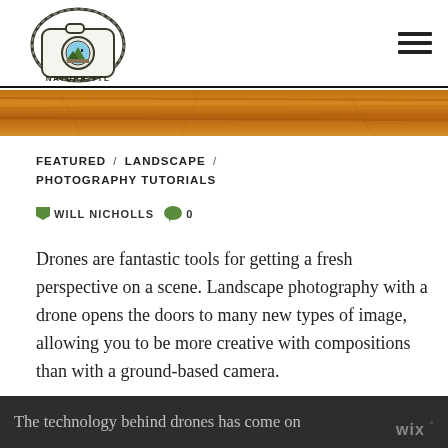[Figure (logo): Nature TTL logo — circular camera badge with mountain landscape and text 'NATURE TTL']
≡ (hamburger menu icon)
[Figure (photo): Horizontal wood-grain texture banner strip]
FEATURED / LANDSCAPE / PHOTOGRAPHY TUTORIALS
WILL NICHOLLS  0
Drones are fantastic tools for getting a fresh perspective on a scene. Landscape photography with a drone opens the doors to many new types of image, allowing you to be more creative with compositions than with a ground-based camera.
The technology behind drones has come on